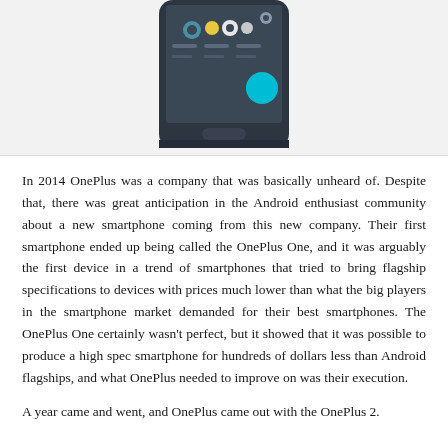[Figure (photo): Partial view of a OnePlus smartphone showing the lower portion of the device with the screen displaying app icons and a teal circular button, against a white background.]
In 2014 OnePlus was a company that was basically unheard of. Despite that, there was great anticipation in the Android enthusiast community about a new smartphone coming from this new company. Their first smartphone ended up being called the OnePlus One, and it was arguably the first device in a trend of smartphones that tried to bring flagship specifications to devices with prices much lower than what the big players in the smartphone market demanded for their best smartphones. The OnePlus One certainly wasn't perfect, but it showed that it was possible to produce a high spec smartphone for hundreds of dollars less than Android flagships, and what OnePlus needed to improve on was their execution.
A year came and went, and OnePlus came out with the OnePlus 2.